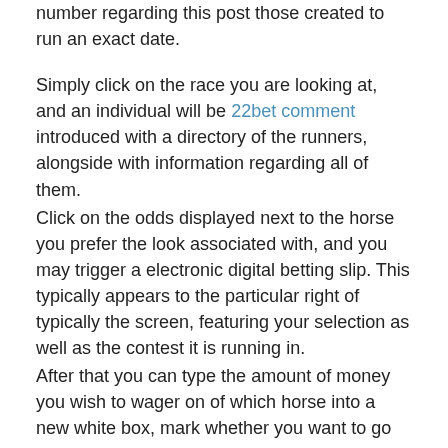number regarding this post those created to run an exact date.
Simply click on the race you are looking at, and an individual will be 22bet comment introduced with a directory of the runners, alongside with information regarding all of them.
Click on the odds displayed next to the horse you prefer the look associated with, and you may trigger a electronic digital betting slip. This typically appears to the particular right of typically the screen, featuring your selection as well as the contest it is running in.
After that you can type the amount of money you wish to wager on of which horse into a new white box, mark whether you want to go each-way or to get the starting cost, and then click the button that affirms “ Place Bet”.
You may remove a choice from the digital wagering slip at any time if you buy the wrong thing.